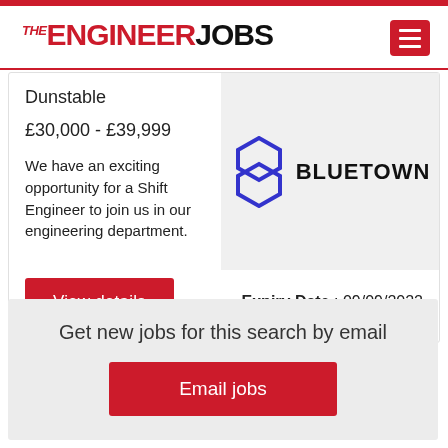THE ENGINEER JOBS
Dunstable
£30,000 - £39,999
We have an exciting opportunity for a Shift Engineer to join us in our engineering department.
[Figure (logo): Bluetown company logo with hexagon icon and BLUETOWN text]
Expiry Date : 09/09/2022
View details
Get new jobs for this search by email
Email jobs